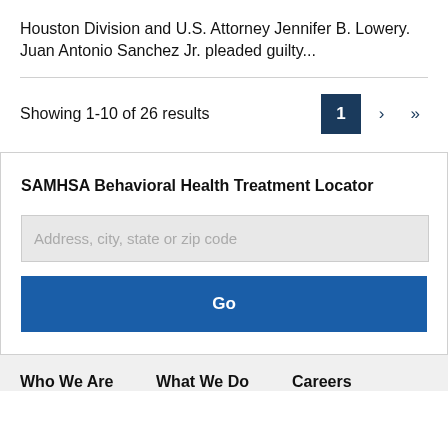Houston Division and U.S. Attorney Jennifer B. Lowery. Juan Antonio Sanchez Jr. pleaded guilty...
Showing 1-10 of 26 results
SAMHSA Behavioral Health Treatment Locator
Address, city, state or zip code
Go
Who We Are   What We Do   Careers